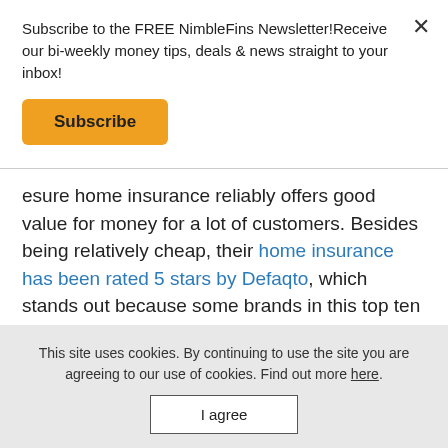Subscribe to the FREE NimbleFins Newsletter!Receive our bi-weekly money tips, deals & news straight to your inbox!
Subscribe
esure home insurance reliably offers good value for money for a lot of customers. Besides being relatively cheap, their home insurance has been rated 5 stars by Defaqto, which stands out because some brands in this top ten list provide products rated with only 3 or 4 stars. Knowing they only sell 5 star home insurance takes some of the stress out of buying
This site uses cookies. By continuing to use the site you are agreeing to our use of cookies. Find out more here.
I agree